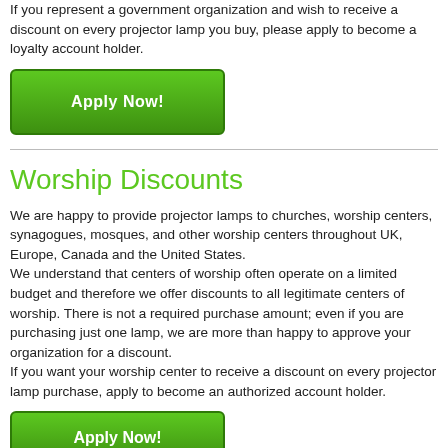If you represent a government organization and wish to receive a discount on every projector lamp you buy, please apply to become a loyalty account holder.
[Figure (other): Green 'Apply Now!' button]
Worship Discounts
We are happy to provide projector lamps to churches, worship centers, synagogues, mosques, and other worship centers throughout UK, Europe, Canada and the United States. We understand that centers of worship often operate on a limited budget and therefore we offer discounts to all legitimate centers of worship. There is not a required purchase amount; even if you are purchasing just one lamp, we are more than happy to approve your organization for a discount. If you want your worship center to receive a discount on every projector lamp purchase, apply to become an authorized account holder.
[Figure (other): Green 'Apply Now!' button (bottom, partially visible)]